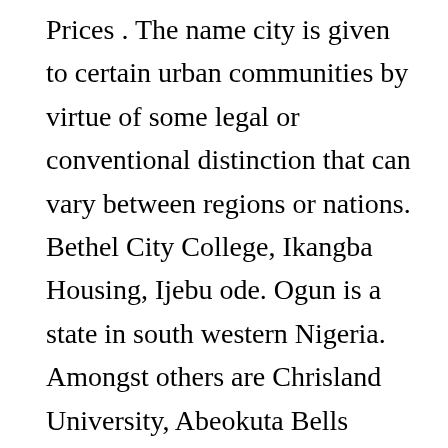Prices . The name city is given to certain urban communities by virtue of some legal or conventional distinction that can vary between regions or nations. Bethel City College, Ikangba Housing, Ijebu ode. Ogun is a state in south western Nigeria. Amongst others are Chrisland University, Abeokuta Bells University of Technology in Ota, Covenant University and Babcock University in Ilisan-Remo, which was the first private university in the country. Ogun State Tourism: Tripadvisor has 565 reviews of Ogun State Hotels, Attractions, and Restaurants making it your best Ogun State resource. Mueenat International Academy, 1, Dabira Avenue Obada Oko, Abeokuta, Ogun State.